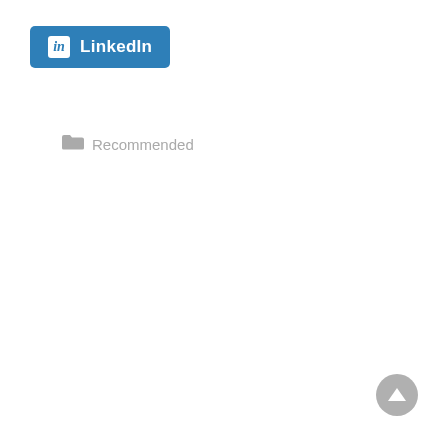[Figure (logo): LinkedIn share button with blue background, 'in' icon in white box, and white 'LinkedIn' text]
Recommended
[Figure (other): Gray circular scroll-to-top button with upward arrow in bottom-right corner]